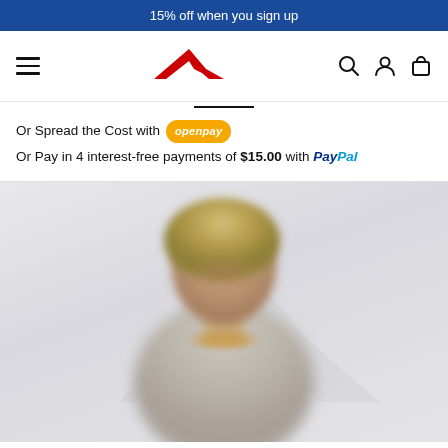15% off when you sign up
[Figure (logo): Reebok red vector logo (stylized R mark) in navigation bar with hamburger menu on left and search, account, cart icons on right]
Or Spread the Cost with openpay
Or Pay in 4 interest-free payments of $15.00 with PayPal
[Figure (photo): Blurred/out-of-focus photo of a young person with short blonde/sandy hair wearing a light grey/beige long-sleeve top, facing camera, on light grey background]